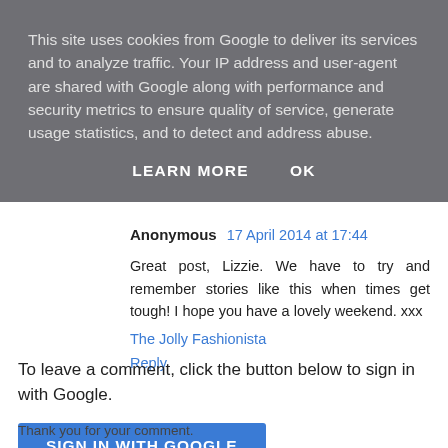This site uses cookies from Google to deliver its services and to analyze traffic. Your IP address and user-agent are shared with Google along with performance and security metrics to ensure quality of service, generate usage statistics, and to detect and address abuse.
LEARN MORE   OK
Anonymous  17 April 2014 at 17:44
Great post, Lizzie. We have to try and remember stories like this when times get tough! I hope you have a lovely weekend. xxx
The Jolly Fashionista
Reply
To leave a comment, click the button below to sign in with Google.
SIGN IN WITH GOOGLE
Thank you for your comment.